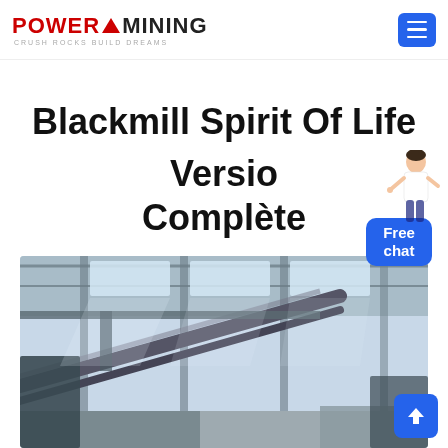POWER MINING — Crush Rocks Build Dreams
Blackmill Spirit Of Life Version Complète
[Figure (photo): Industrial warehouse/factory interior with steel structure, cranes, and large conveyor or machinery equipment, lit by skylights]
[Figure (other): Free chat widget with female figure illustration and blue button labeled 'Free chat']
[Figure (other): Blue back-to-top arrow button in bottom right corner]